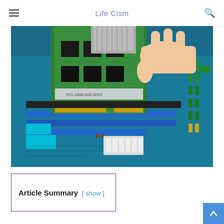Life Cism
[Figure (photo): A hand inserting a RAM memory stick into a motherboard slot. The motherboard is blue with various components including capacitors, connectors, and expansion slots visible.]
Article Summary  [ show ]